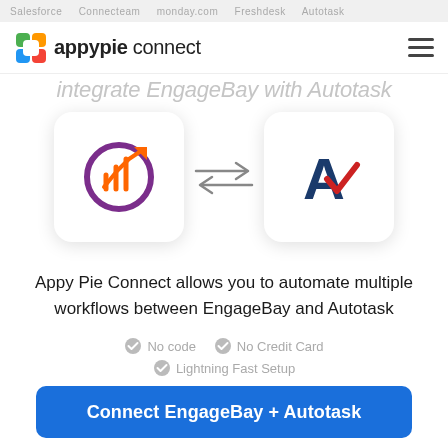Salesforce   Connecteam   monday.com   Freshdesk   Autotask
[Figure (logo): Appy Pie Connect logo with colorful icon and text]
Integrate EngageBay with Autotask
[Figure (infographic): EngageBay logo icon and Autotask logo icon connected by bidirectional arrows]
Appy Pie Connect allows you to automate multiple workflows between EngageBay and Autotask
No code
No Credit Card
Lightning Fast Setup
Connect EngageBay + Autotask
20 Million man hours saved